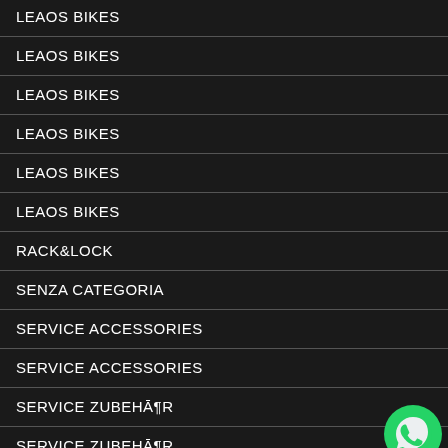LEAOS BIKES
LEAOS BIKES
LEAOS BIKES
LEAOS BIKES
LEAOS BIKES
LEAOS BIKES
RACK&LOCK
SENZA CATEGORIA
SERVICE ACCESSORIES
SERVICE ACCESSORIES
SERVICE ZUBEHÃ¶R
SERVICE ZUBEHÃ¶R
SPARE PARTS